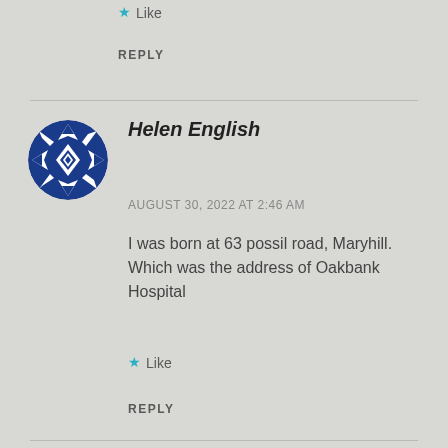Like
REPLY
[Figure (illustration): Circular avatar with blue and white geometric diamond/snowflake pattern design]
Helen English
AUGUST 30, 2022 AT 2:46 AM
I was born at 63 possil road, Maryhill. Which was the address of Oakbank Hospital
Like
REPLY